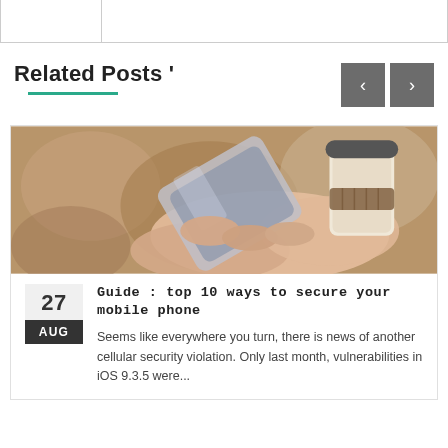Related Posts '
[Figure (photo): Person holding a smartphone and a coffee cup with a bokeh background]
27 AUG
Guide : top 10 ways to secure your mobile phone
Seems like everywhere you turn, there is news of another cellular security violation. Only last month, vulnerabilities in iOS 9.3.5 were...